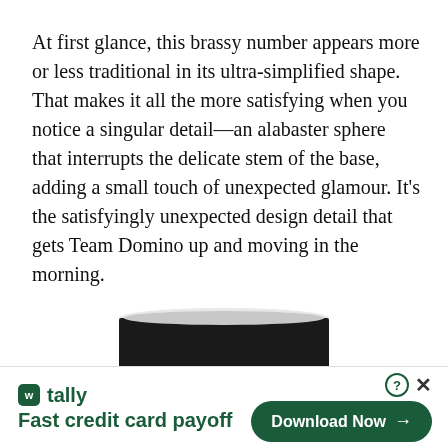At first glance, this brassy number appears more or less traditional in its ultra-simplified shape. That makes it all the more satisfying when you notice a singular detail—an alabaster sphere that interrupts the delicate stem of the base, adding a small touch of unexpected glamour. It's the satisfyingly unexpected design detail that gets Team Domino up and moving in the morning.
[Figure (photo): Partial view of a floor lamp with a large black cylindrical shade and a thin metallic stem, cropped at bottom]
tally Fast credit card payoff  Download Now →